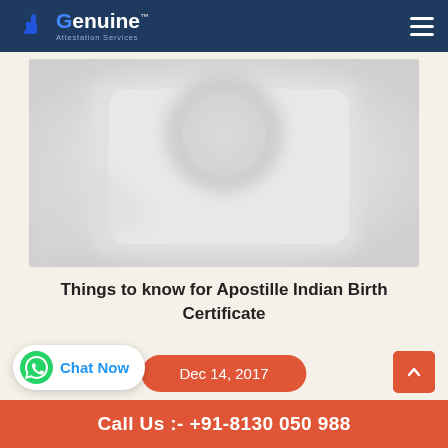Genuine Attestation Services
[Figure (photo): Blurred close-up image of a white/light gray document or card, possibly a certificate, with rounded corners and a circular seal or stamp visible in the upper portion.]
Things to know for Apostille Indian Birth Certificate
Dec 14, 2017
Chat Now
Call Us :- +91-8130 050 988